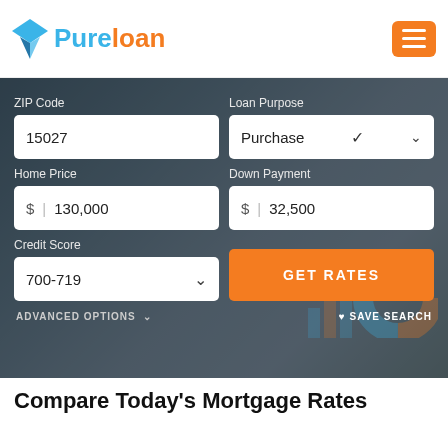[Figure (logo): Pureloan logo with blue arrow/triangle icon and text 'Pureloan' in blue and orange]
[Figure (screenshot): Mortgage rate comparison form on dark photo background with fields: ZIP Code (15027), Loan Purpose (Purchase), Home Price ($130,000), Down Payment ($32,500), Credit Score (700-719), GET RATES button, ADVANCED OPTIONS, SAVE SEARCH]
Compare Today's Mortgage Rates